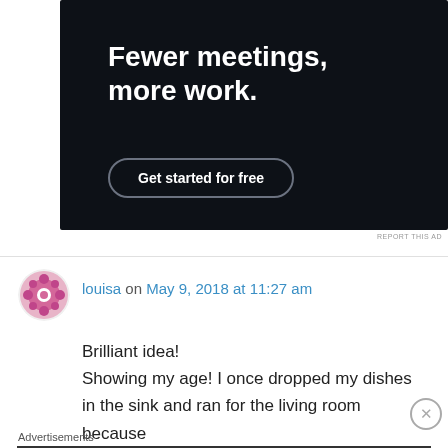[Figure (screenshot): Dark advertisement banner with white bold text 'Fewer meetings, more work.' and a 'Get started for free' rounded button]
REPORT THIS AD
louisa on May 9, 2018 at 11:27 am
Brilliant idea!
Showing my age! I once dropped my dishes in the sink and ran for the living room because
Advertisements
[Figure (screenshot): Ulta Beauty advertisement banner showing makeup/cosmetics images with 'SHOP NOW' text]